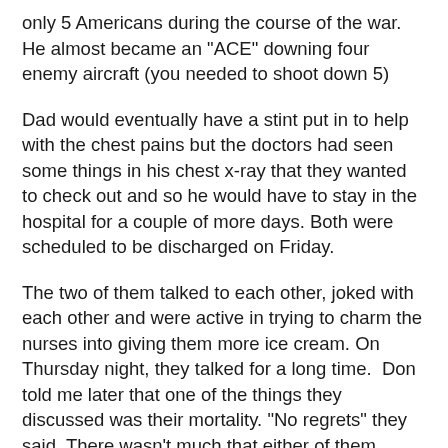only 5 Americans during the course of the war. He almost became an "ACE" downing four enemy aircraft (you needed to shoot down 5)
Dad would eventually have a stint put in to help with the chest pains but the doctors had seen some things in his chest x-ray that they wanted to check out and so he would have to stay in the hospital for a couple of more days. Both were scheduled to be discharged on Friday.
The two of them talked to each other, joked with each other and were active in trying to charm the nurses into giving them more ice cream. On Thursday night, they talked for a long time. Don told me later that one of the things they discussed was their mortality. "No regrets" they said. There wasn't much that either of them would have done over. They felt that they had lived good long lives.
That night, Dad took a downturn and was struggling with his